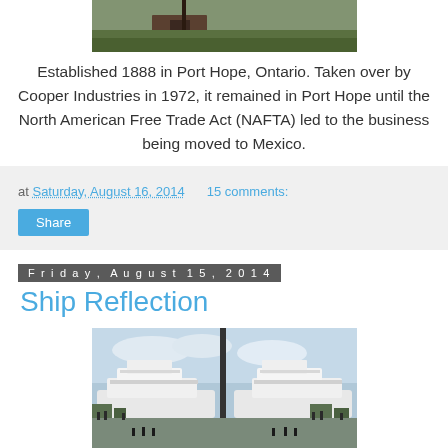[Figure (photo): Partial photo of a brick building with green grass and a dark gate, top portion visible]
Established 1888 in Port Hope, Ontario. Taken over by Cooper Industries in 1972, it remained in Port Hope until the North American Free Trade Act (NAFTA) led to the business being moved to Mexico.
at Saturday, August 16, 2014   15 comments:
Share
Friday, August 15, 2014
Ship Reflection
[Figure (photo): Photo of a large white luxury yacht/ship reflected in glass or water, with people and trees visible, docked at a waterfront]